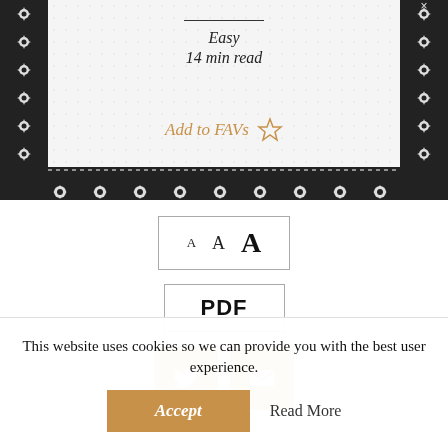Easy
14 min read
Add to FAVs
[Figure (screenshot): Font size selector with three A letters (small, medium, large) in a bordered box]
[Figure (screenshot): PDF button in a bordered box]
[Figure (screenshot): Twitter and email share buttons (tan/gold colored squares with white icons)]
This website uses cookies so we can provide you with the best user experience.
Accept
Read More